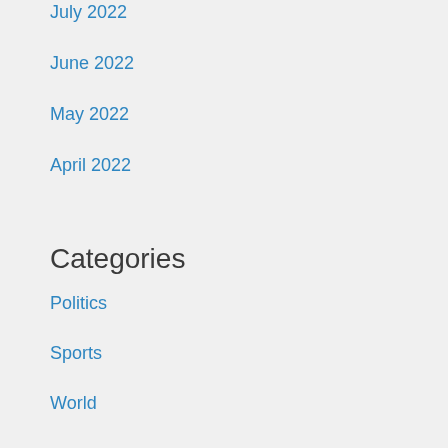July 2022
June 2022
May 2022
April 2022
Categories
Politics
Sports
World